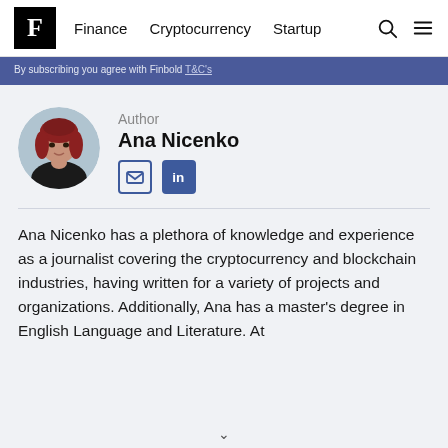Finance  Cryptocurrency  Startup
By subscribing you agree with Finbold T&C's
Author
Ana Nicenko
Ana Nicenko has a plethora of knowledge and experience as a journalist covering the cryptocurrency and blockchain industries, having written for a variety of projects and organizations. Additionally, Ana has a master's degree in English Language and Literature. At